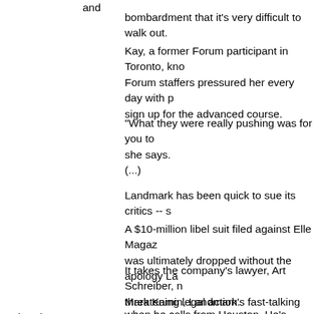and bombardment that it's very difficult to walk out.
Kay, a former Forum participant in Toronto, kno Forum staffers pressured her every day with p sign up for the advanced course.
"What they were really pushing was for you to she says.
(...)
Landmark has been quick to sue its critics -- s
A $10-million libel suit filed against Elle Magaz was ultimately dropped without the apology La
It takes the company's lawyer, Art Schreiber, n threatening legal action.
Mark Kamin, Landmark's fast-talking PR head do when he calls from Houston. He's tape-recordi